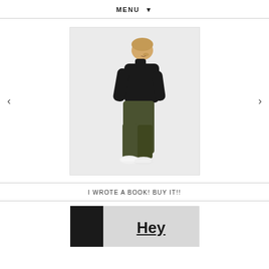MENU ▼
[Figure (photo): A woman with blonde hair wearing a black turtleneck sweater and olive/dark green cropped trousers with white sneakers, looking downward, against a light gray background. Navigation arrows on left and right sides.]
I WROTE A BOOK! BUY IT!!
[Figure (photo): Partial view of a book cover showing a black spine on the left and a light gray cover on the right with the text 'Hey' in large bold underlined text, and additional text below that is cut off.]